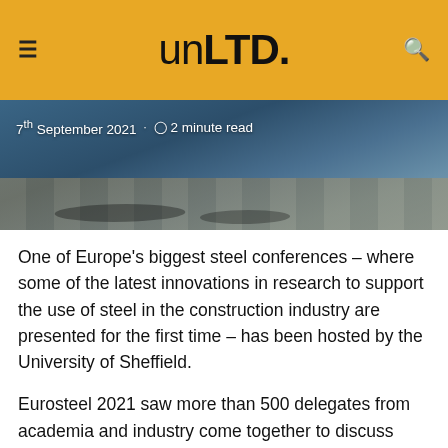unLTD.
[Figure (photo): Overhead photo of people walking on cobblestone pavement with long shadows, date overlay reads 7th September 2021 · 2 minute read]
One of Europe's biggest steel conferences – where some of the latest innovations in research to support the use of steel in the construction industry are presented for the first time – has been hosted by the University of Sheffield.
Eurosteel 2021 saw more than 500 delegates from academia and industry come together to discuss how research and innovation can help to tackle some of the